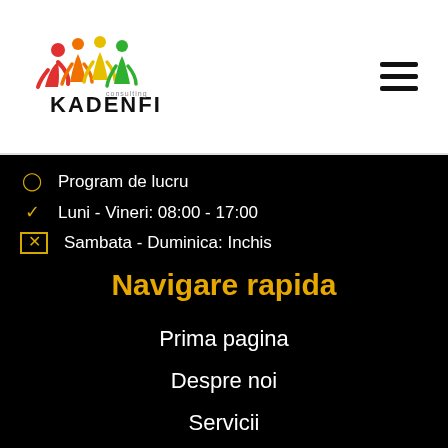[Figure (logo): Kadenfi logo with colorful figures and text KADENFI]
Program de lucru
Luni - Vineri: 08:00 - 17:00
Sambata - Duminica: Inchis
Navigare rapida
Prima pagina
Despre noi
Servicii
Parteneri
Portofoliu